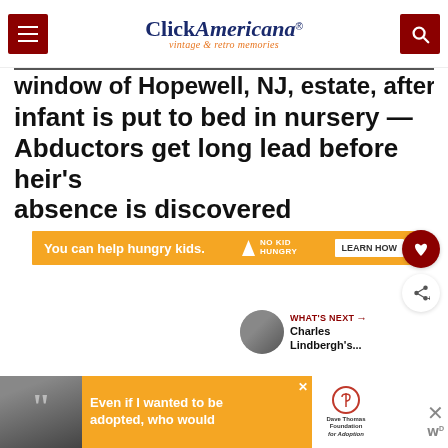Click Americana — vintage & retro memories
window of Hopewell, NJ, estate, after infant is put to bed in nursery — Abductors get long lead before heir's absence is discovered
[Figure (infographic): Orange advertisement banner: 'You can help hungry kids. NO KID HUNGRY LEARN HOW' with close X button]
[Figure (infographic): WHAT'S NEXT arrow label with circular thumbnail photo and text 'Charles Lindbergh's...']
[Figure (infographic): Bottom advertisement: black and white photo of woman with quote marks, orange background text 'Even if I wanted to be adopted, who would', Dave Thomas Foundation for Adoption logo, close X and WP logo]